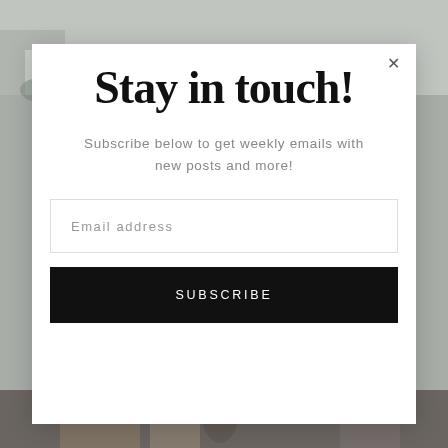[Figure (screenshot): Background photo of outdoor/indoor scene visible behind modal popup, muted gray-green tones]
Stay in touch!
Subscribe below to get weekly emails with new posts and more!
Email address
SUBSCRIBE